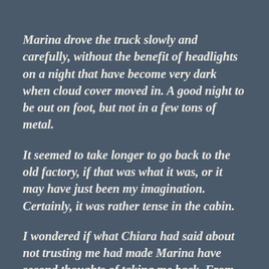Marina drove the truck slowly and carefully, without the benefit of headlights on a night that have become very dark when cloud cover moved in.  A good night to be out on foot, but not in a few tons of metal.
It seemed to take longer to go back to the old factory, if that was what it was, or it may have just been my imagination.  Certainly, it was rather tense in the cabin.
I wondered if what Chiara had said about not trusting me had made Marina have second thoughts of taking me back.  From where we were, I would have no idea where it was, and if she dropped me off, I could not find it again.